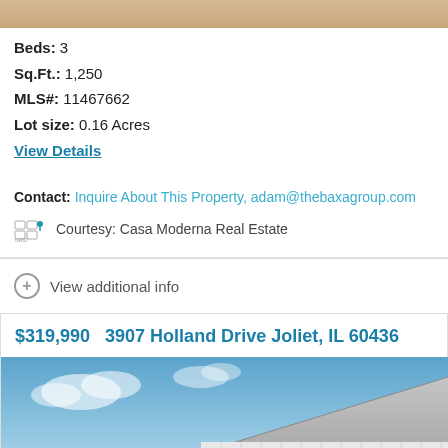[Figure (photo): Top portion of a property photo, partially cropped, showing a tan/gold color bar]
Beds: 3
Sq.Ft.: 1,250
MLS#: 11467662
Lot size: 0.16 Acres
View Details
Contact: Inquire About This Property, adam@thebaxagroup.com
Courtesy: Casa Moderna Real Estate
View additional info
$319,990   3907 Holland Drive Joliet, IL 60436
[Figure (photo): Exterior photo of a house showing roofline against a blue sky with clouds]